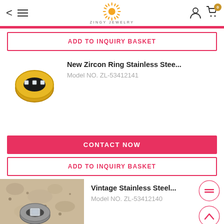Zingy Jewelry
ADD TO INQUIRY BASKET
[Figure (photo): Gold stainless steel zircon ring product photo on white background]
New Zircon Ring Stainless Stee...
Model NO. ZL-53412141
CONTACT NOW
ADD TO INQUIRY BASKET
[Figure (photo): Vintage stainless steel ring displayed on a stone/cork surface]
Vintage Stainless Steel...
Model NO. ZL-53412140